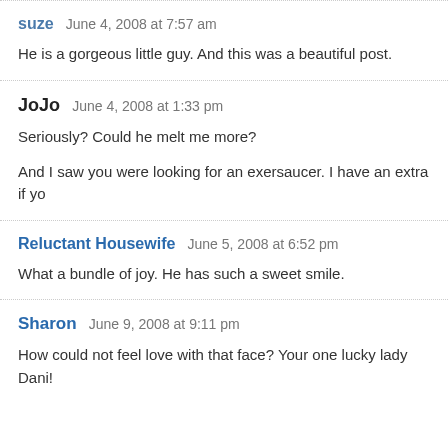suze   June 4, 2008 at 7:57 am
He is a gorgeous little guy. And this was a beautiful post.
JoJo   June 4, 2008 at 1:33 pm
Seriously? Could he melt me more?
And I saw you were looking for an exersaucer. I have an extra if yo
Reluctant Housewife   June 5, 2008 at 6:52 pm
What a bundle of joy. He has such a sweet smile.
Sharon   June 9, 2008 at 9:11 pm
How could not feel love with that face? Your one lucky lady Dani!